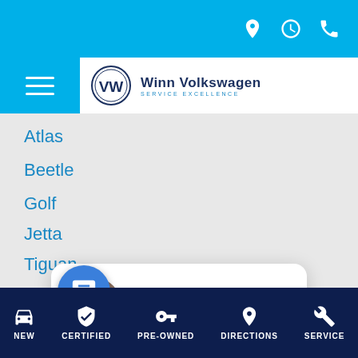Top bar with location, hours, and phone icons
[Figure (screenshot): Winn Volkswagen logo with VW circle emblem and dealer name]
Atlas
Beetle
Golf
Jetta
Tiguan
close
Pr
Ce
Go
Pre-Owned Volkswagen
All Owned
[Figure (screenshot): Chat widget popup with female avatar photo and text: Hi there, have a question? Text us here.]
NEW   CERTIFIED   PRE-OWNED   DIRECTIONS   SERVICE